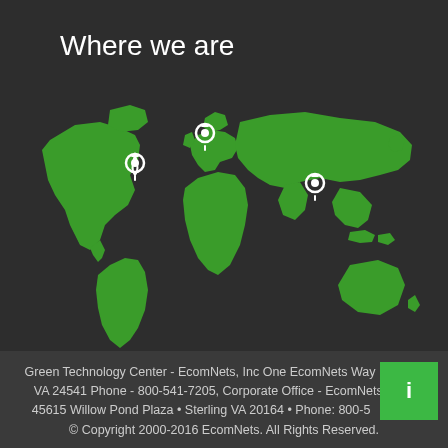Where we are
[Figure (map): World map in green on dark background with three location pin markers: one on eastern North America, one on western Europe/Scandinavia, and one on Southeast Asia/India region.]
Green Technology Center - EcomNets, Inc One EcomNets Way Danville VA 24541 Phone - 800-541-7205, Corporate Office - EcomNets Inc. • 45615 Willow Pond Plaza • Sterling VA 20164 • Phone: 800-541-7205 © Copyright 2000-2016 EcomNets. All Rights Reserved.